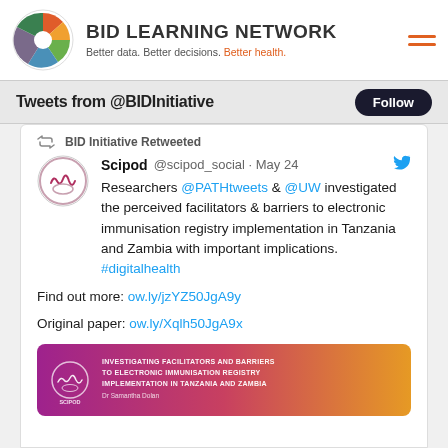[Figure (logo): BID Learning Network logo with colorful pie-chart circle and text: BID LEARNING NETWORK / Better data. Better decisions. Better health.]
BID LEARNING NETWORK
Better data. Better decisions. Better health.
Tweets from @BIDInitiative  Follow
BID Initiative Retweeted
Scipod @scipod_social · May 24
Researchers @PATHtweets & @UW investigated the perceived facilitators & barriers to electronic immunisation registry implementation in Tanzania and Zambia with important implications. #digitalhealth

Find out more: ow.ly/jzYZ50JgA9y

Original paper: ow.ly/Xqlh50JgA9x
[Figure (screenshot): Scipod card image with gradient purple-orange background, Scipod logo, and text: INVESTIGATING FACILITATORS AND BARRIERS TO ELECTRONIC IMMUNISATION REGISTRY IMPLEMENTATION IN TANZANIA AND ZAMBIA, Dr Samantha Dolan]